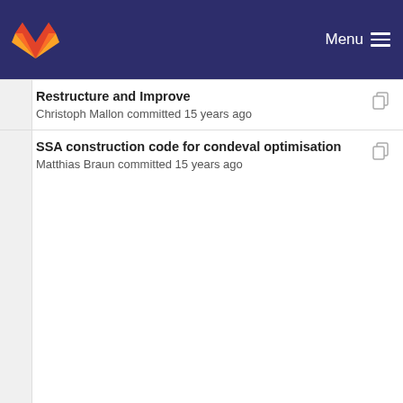Menu
Restructure and Improve
Christoph Mallon committed 15 years ago
SSA construction code for condeval optimisation
Matthias Braun committed 15 years ago
first version of condeval optimisation
Matthias Braun committed 15 years ago
SSA construction code for condeval optimisation
Matthias Braun committed 15 years ago
Imprint